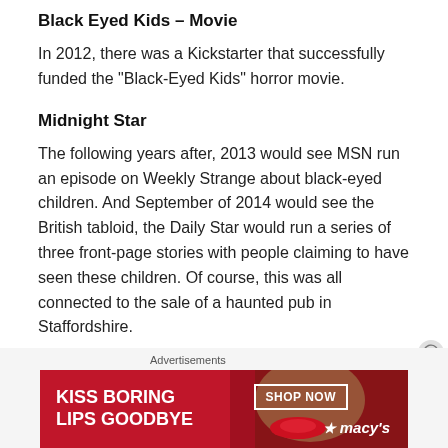Black Eyed Kids – Movie
In 2012, there was a Kickstarter that successfully funded the “Black-Eyed Kids” horror movie.
Midnight Star
The following years after, 2013 would see MSN run an episode on Weekly Strange about black-eyed children. And September of 2014 would see the British tabloid, the Daily Star would run a series of three front-page stories with people claiming to have seen these children. Of course, this was all connected to the sale of a haunted pub in Staffordshire.
[Figure (other): Advertisement banner for Macy's lipstick: 'KISS BORING LIPS GOODBYE' with SHOP NOW button and Macy's logo]